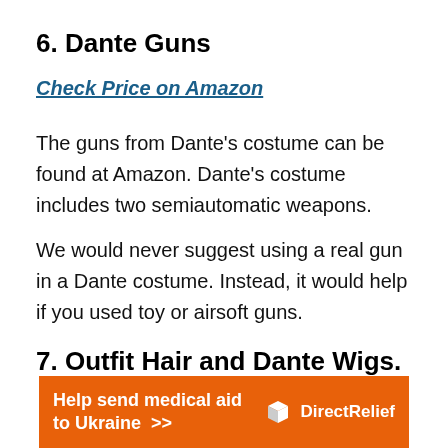6. Dante Guns
Check Price on Amazon
The guns from Dante’s costume can be found at Amazon. Dante’s costume includes two semiautomatic weapons.
We would never suggest using a real gun in a Dante costume. Instead, it would help if you used toy or airsoft guns.
7. Outfit Hair and Dante Wigs.
[Figure (infographic): Orange advertisement banner for Direct Relief: 'Help send medical aid to Ukraine >>' with Direct Relief logo on the right]